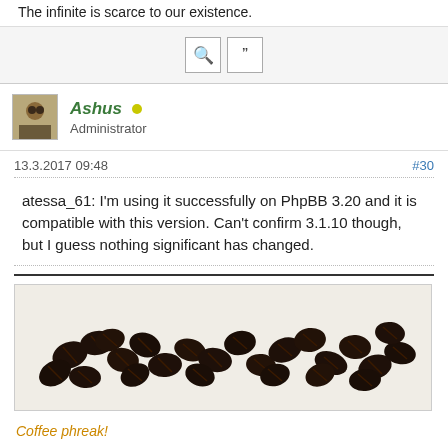The infinite is scarce to our existence.
[search icon] [quote icon]
Ashus • Administrator
13.3.2017 09:48  #30
atessa_61: I'm using it successfully on PhpBB 3.20 and it is compatible with this version. Can't confirm 3.1.10 though, but I guess nothing significant has changed.
[Figure (photo): Coffee beans scattered in a line/pile on a white background]
Coffee phreak!